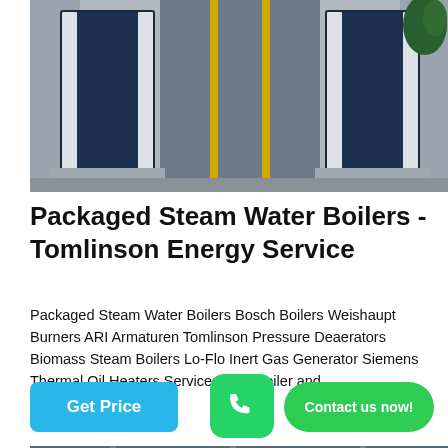[Figure (photo): Industrial packaged steam water boilers in a facility, showing large dark blue and white boiler units side by side on a concrete base, with yellow pipes visible in the background corridor.]
Packaged Steam Water Boilers - Tomlinson Energy Service
Packaged Steam Water Boilers Bosch Boilers Weishaupt Burners ARI Armaturen Tomlinson Pressure Deaerators Biomass Steam Boilers Lo-Flo Inert Gas Generator Siemens Thermal Oil Heaters Services 24/7 Boiler and…
Get Price
[Figure (logo): WhatsApp green icon with phone handset symbol]
Contact us now!
[Figure (photo): Industrial piping system with insulated pipes and colored lines (red, blue) mounted on ceiling structure inside a facility.]